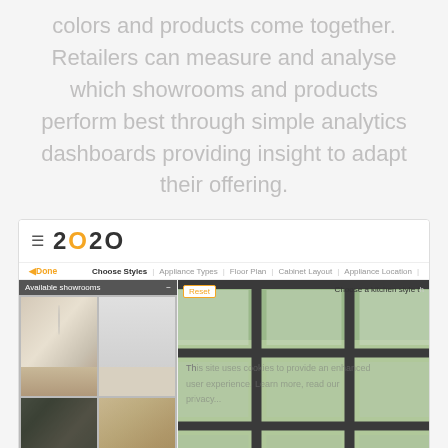colors and products come together. Retailers can measure and analyse which showrooms and products perform best through simple analytics dashboards providing insight to adapt their offering.
[Figure (screenshot): Screenshot of the 2020 kitchen design software showing a navigation bar with the 2020 logo, a toolbar with navigation items (Choose Styles, Appliance Types, Floor Plan, Cabinet Layout, Appliance Location), and a content area with available showrooms panel on the left showing kitchen thumbnails, and a kitchen style chooser on the right showing a window view with dark frames overlooking greenery. A cookie consent overlay is partially visible in the content area.]